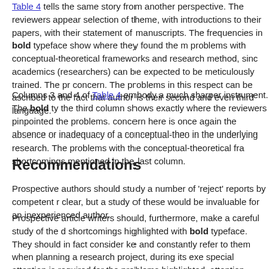Table 4 tells the same story from another perspective. The reviewers appear selection of theme, with introductions to their papers, with their statement of manuscripts. The frequencies in bold typeface show where they found the m problems with conceptual-theoretical frameworks and research method, sinc academics (researchers) can be expected to be meticulously trained. The pr concern. The problems in this respect can be ascribed to the fact that author is their second and even third language.
Columns 3 and 4 of Table 4 embody a much sharper instrument. The bold ty the third column shows exactly where the reviewers pinpointed the problems concern here is once again the absence or inadequacy of a conceptual-theo in the underlying research. The problems with the conceptual-theoretical fra shortcomings mentioned in the last column.
Recommendations
Prospective authors should study a number of 'reject' reports by competent r clear, but a study of these would be invaluable for an inexperienced author.
Prospective article writers should, furthermore, make a careful study of the d shortcomings highlighted with bold typeface. They should in fact consider ke and constantly refer to them when planning a research project, during its exe special attention is required for the problems highlighted, attention should als in these three tables. A comparison between the current review form of the S no other constructs, dimensions, or factors in connection with writing articles review form. Put differently, Table 4, although containing 17 categories as op SAJE, does not contain any new constructs or criteria not already reflected in sub-categories or criteria in the peer review form. It is, therefore, recommend in the review form in mind.